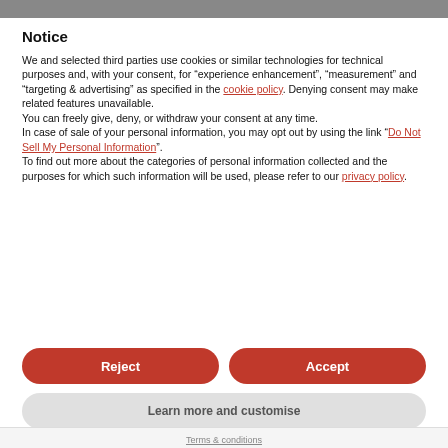Notice
We and selected third parties use cookies or similar technologies for technical purposes and, with your consent, for “experience enhancement”, “measurement” and “targeting & advertising” as specified in the cookie policy. Denying consent may make related features unavailable.
You can freely give, deny, or withdraw your consent at any time.
In case of sale of your personal information, you may opt out by using the link “Do Not Sell My Personal Information”.
To find out more about the categories of personal information collected and the purposes for which such information will be used, please refer to our privacy policy.
Reject
Accept
Learn more and customise
Terms & conditions